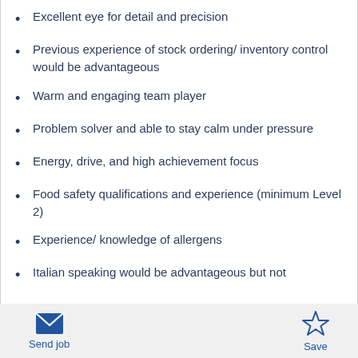Excellent eye for detail and precision
Previous experience of stock ordering/ inventory control would be advantageous
Warm and engaging team player
Problem solver and able to stay calm under pressure
Energy, drive, and high achievement focus
Food safety qualifications and experience (minimum Level 2)
Experience/ knowledge of allergens
Italian speaking would be advantageous but not
Send job   Save